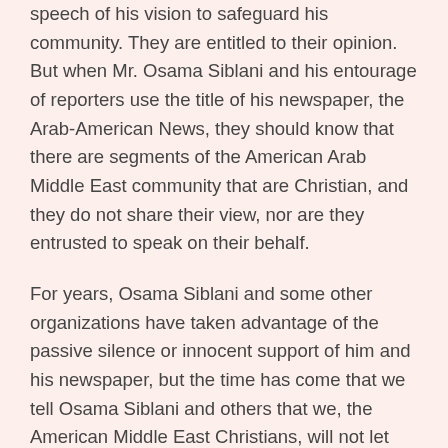speech of his vision to safeguard his community. They are entitled to their opinion. But when Mr. Osama Siblani and his entourage of reporters use the title of his newspaper, the Arab-American News, they should know that there are segments of the American Arab Middle East community that are Christian, and they do not share their view, nor are they entrusted to speak on their behalf.
For years, Osama Siblani and some other organizations have taken advantage of the passive silence or innocent support of him and his newspaper, but the time has come that we tell Osama Siblani and others that we, the American Middle East Christians, will not let this continue anymore. We will let our fellow Americans and others know that.
I also hope, pray, and encourage the Middle East Christian church leadership, their civic and civil rights leaders, and individuals who have in the past been quiet or passive to the